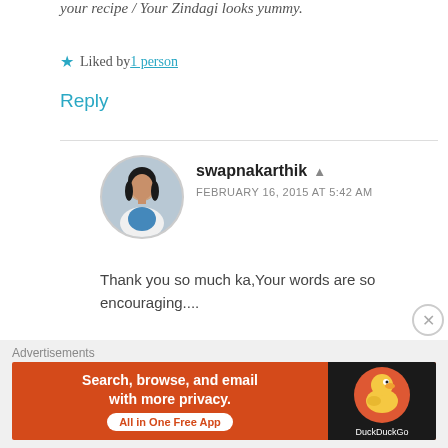your recipe / Your Zindagi looks yummy.
★ Liked by 1 person
Reply
swapnakarthik ▲
FEBRUARY 16, 2015 AT 5:42 AM
Thank you so much ka,Your words are so encouraging....
★ Like
[Figure (photo): Circular avatar photo of a woman with dark hair wearing a white and blue outfit]
[Figure (infographic): DuckDuckGo advertisement banner: 'Search, browse, and email with more privacy. All in One Free App' with DuckDuckGo duck logo on dark background]